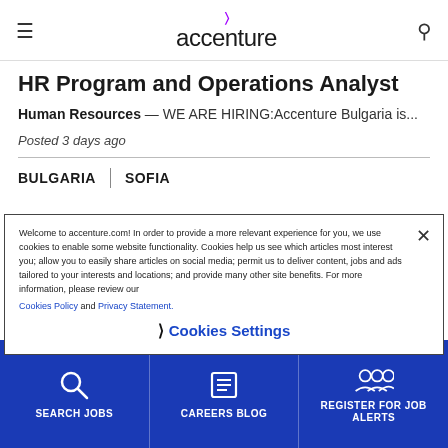accenture
HR Program and Operations Analyst
Human Resources — WE ARE HIRING:Accenture Bulgaria is...
Posted 3 days ago
BULGARIA   SOFIA
Welcome to accenture.com! In order to provide a more relevant experience for you, we use cookies to enable some website functionality. Cookies help us see which articles most interest you; allow you to easily share articles on social media; permit us to deliver content, jobs and ads tailored to your interests and locations; and provide many other site benefits. For more information, please review our Cookies Policy and Privacy Statement.
❯ Cookies Settings
SEARCH JOBS   CAREERS BLOG   REGISTER FOR JOB ALERTS